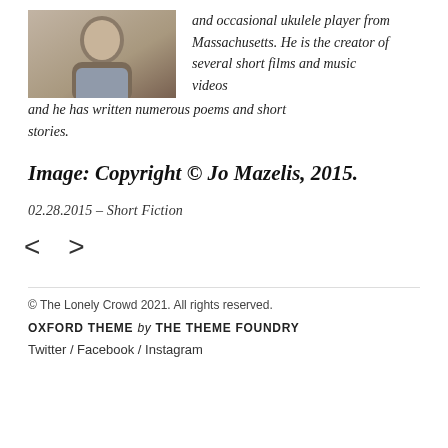[Figure (photo): Portrait photo of a young man in a light grey shirt against a neutral indoor background]
and occasional ukulele player from Massachusetts. He is the creator of several short films and music videos and he has written numerous poems and short stories.
Image: Copyright © Jo Mazelis, 2015.
02.28.2015 – Short Fiction
< >
© The Lonely Crowd 2021. All rights reserved.
OXFORD THEME by THE THEME FOUNDRY
Twitter / Facebook / Instagram